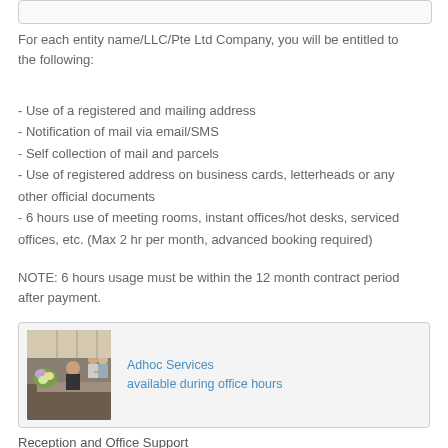For each entity name/LLC/Pte Ltd Company, you will be entitled to the following:
- Use of a registered and mailing address
- Notification of mail via email/SMS
- Self collection of mail and parcels
- Use of registered address on business cards, letterheads or any other official documents
- 6 hours use of meeting rooms, instant offices/hot desks, serviced offices, etc. (Max 2 hr per month, advanced booking required)
NOTE: 6 hours usage must be within the 12 month contract period after payment.
[Figure (photo): Photo of a reception desk with a receptionist, flower arrangement in foreground, and two people shaking hands in the background]
Adhoc Services available during office hours
Reception and Office Support
Taking of calls and messages and forwarding to you